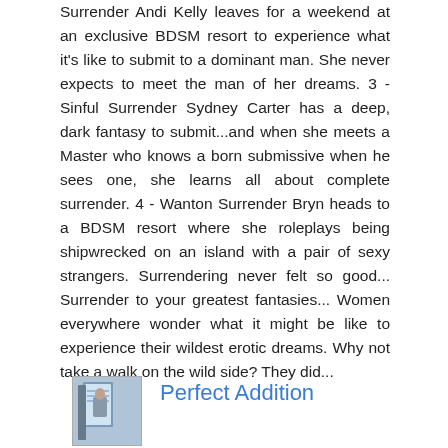Surrender Andi Kelly leaves for a weekend at an exclusive BDSM resort to experience what it's like to submit to a dominant man. She never expects to meet the man of her dreams. 3 - Sinful Surrender Sydney Carter has a deep, dark fantasy to submit...and when she meets a Master who knows a born submissive when he sees one, she learns all about complete surrender. 4 - Wanton Surrender Bryn heads to a BDSM resort where she roleplays being shipwrecked on an island with a pair of sexy strangers. Surrendering never felt so good... Surrender to your greatest fantasies... Women everywhere wonder what it might be like to experience their wildest erotic dreams. Why not take a walk on the wild side? They did...
[Figure (photo): Small thumbnail image of a book cover showing a figure]
Perfect Addition